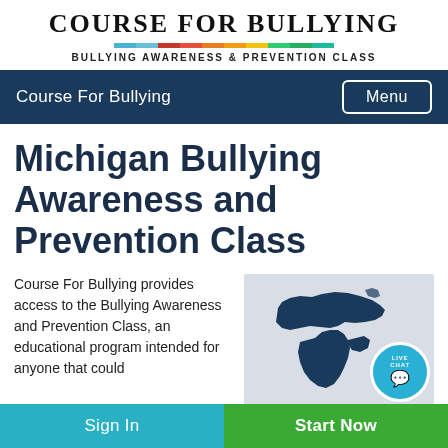Course For Bullying — Bullying Awareness & Prevention Class
Michigan Bullying Awareness and Prevention Class
Course For Bullying provides access to the Bullying Awareness and Prevention Class, an educational program intended for anyone that could
[Figure (map): Map of the state of Michigan (Upper and Lower Peninsula silhouette) on a light gray background, with a Live Chat badge in the bottom right corner]
Sign In
Start Now